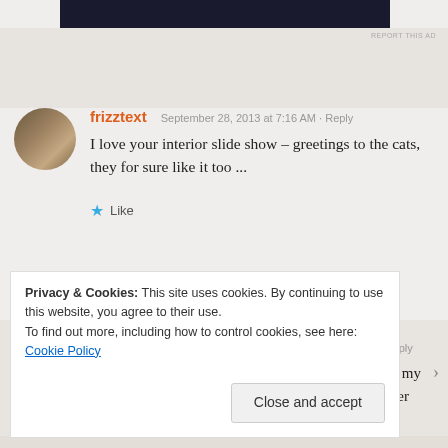REPORT THIS AD
frizztext · September 28, 2013 at 7:16 AM · Reply
I love your interior slide show – greetings to the cats, they for sure like it too ...
Like
hugmamma · September 28, 2013 at 9:02 AM · Reply
Thank you for your kind words of support for my "saturated" decorating style...hoarding, in other words. I vacillate between it being an
Privacy & Cookies: This site uses cookies. By continuing to use this website, you agree to their use.
To find out more, including how to control cookies, see here: Cookie Policy
Close and accept